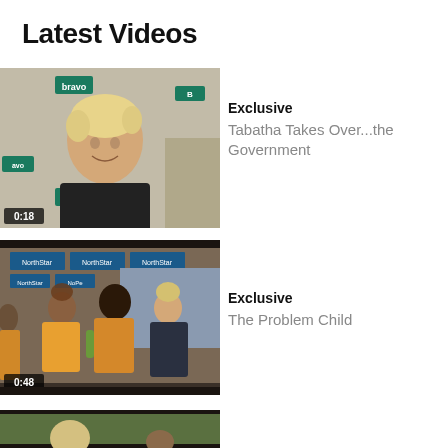Latest Videos
[Figure (screenshot): Video thumbnail showing a blonde woman with short hair at a Bravo event, duration 0:18]
Exclusive
Tabatha Takes Over...the Government
[Figure (screenshot): Video thumbnail showing three people at an event with NorthStar branding, duration 0:48]
Exclusive
The Problem Child
[Figure (screenshot): Partially visible video thumbnail at bottom of page]